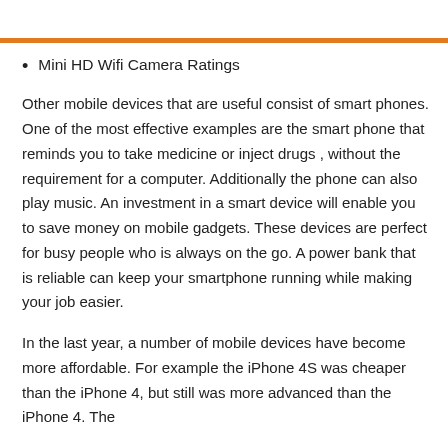Mini HD Wifi Camera Ratings
Other mobile devices that are useful consist of smart phones. One of the most effective examples are the smart phone that reminds you to take medicine or inject drugs , without the requirement for a computer. Additionally the phone can also play music. An investment in a smart device will enable you to save money on mobile gadgets. These devices are perfect for busy people who is always on the go. A power bank that is reliable can keep your smartphone running while making your job easier.
In the last year, a number of mobile devices have become more affordable. For example the iPhone 4S was cheaper than the iPhone 4, but still was more advanced than the iPhone 4. The